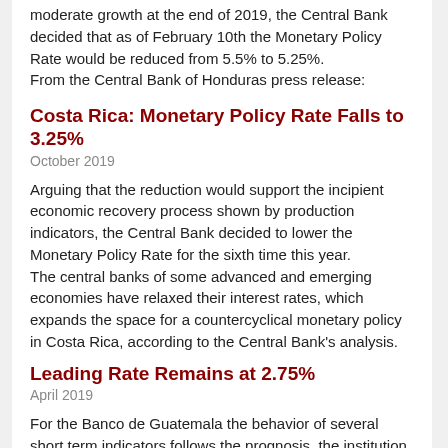moderate growth at the end of 2019, the Central Bank decided that as of February 10th the Monetary Policy Rate would be reduced from 5.5% to 5.25%.
From the Central Bank of Honduras press release:
Costa Rica: Monetary Policy Rate Falls to 3.25%
October 2019
Arguing that the reduction would support the incipient economic recovery process shown by production indicators, the Central Bank decided to lower the Monetary Policy Rate for the sixth time this year.
The central banks of some advanced and emerging economies have relaxed their interest rates, which expands the space for a countercyclical monetary policy in Costa Rica, according to the Central Bank's analysis.
Leading Rate Remains at 2.75%
April 2019
For the Banco de Guatemala the behavior of several short term indicators follows the prognosis, the institution decided to keep the monetary policy rate without changes.
From the Banco de Guatemala press release:
Countries
Guatemala